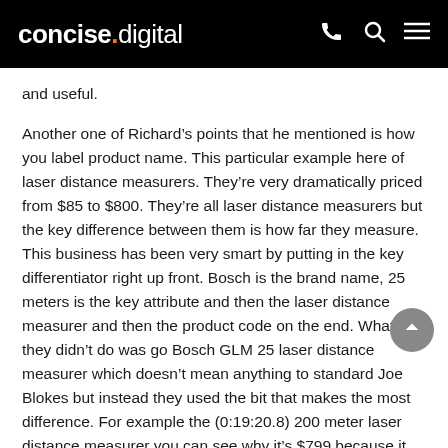concise.digital
and useful.
Another one of Richard’s points that he mentioned is how you label product name. This particular example here of laser distance measurers. They’re very dramatically priced from $85 to $800. They’re all laser distance measurers but the key difference between them is how far they measure. This business has been very smart by putting in the key differentiator right up front. Bosch is the brand name, 25 meters is the key attribute and then the laser distance measurer and then the product code on the end. What they didn’t do was go Bosch GLM 25 laser distance measurer which doesn’t mean anything to standard Joe Blokes but instead they used the bit that makes the most difference. For example the (0:19:20.8) 200 meter laser distance measurer you can see why it’s $799 because it will do 200 meter distance versus 25 meters for $85. It allows the consumer to have a really good overview of what they are